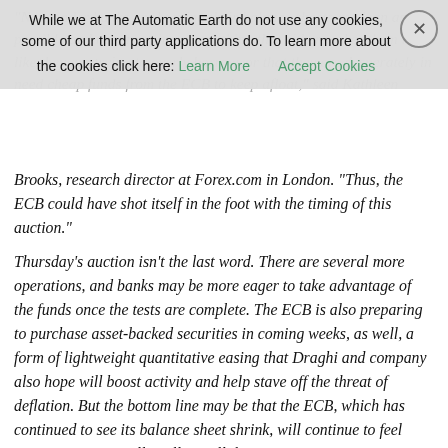"No wonder banks are keeping their balance sheets as clean as possible and not engaging as anything that either makes them look like they are trying to overly borrow, or that they are desperately in need cheap funds from the ECB to keep afloat," said Kathleen Brooks, research director at Forex.com in London. "Thus, the ECB could have shot itself in the foot with the timing of this auction."
Thursday's auction isn't the last word. There are several more operations, and banks may be more eager to take advantage of the funds once the tests are complete. The ECB is also preparing to purchase asset-backed securities in coming weeks, as well, a form of lightweight quantitative easing that Draghi and company also hope will boost activity and help stave off the threat of deflation. But the bottom line may be that the ECB, which has continued to see its balance sheet shrink, will continue to feel pressure to eventually pull out all the stops.
Read more …
[Figure (photo): Advertisement showing cashew nuts with text 'Fighting Diabetes? This Discovery Leaves' from dailytips.info]